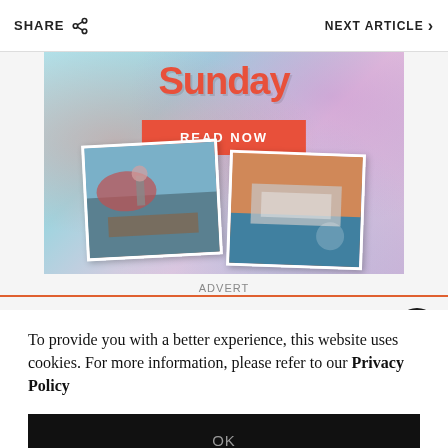SHARE  |  NEXT ARTICLE >
[Figure (illustration): Advertisement banner with teal/pastel swirl background, red cursive text, orange 'READ NOW' button, and two polaroid-style photos of boats/food scenes. Below the ad image is the label 'ADVERT'.]
ADVERT
To provide you with a better experience, this website uses cookies. For more information, please refer to our Privacy Policy
OK